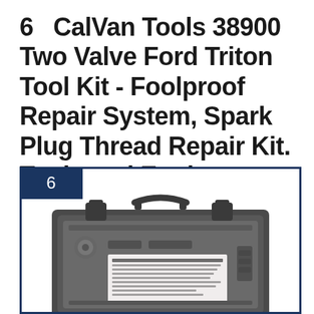6   CalVan Tools 38900 Two Valve Ford Triton Tool Kit - Foolproof Repair System, Spark Plug Thread Repair Kit. Tools and Equipment
[Figure (photo): Photo of a dark grey hard plastic tool case (CalVan Tools 38900) shown open or from the front, with an instruction sheet visible inside on a grey foam/plastic interior. The case has two latch clips at the top and a carry handle.]